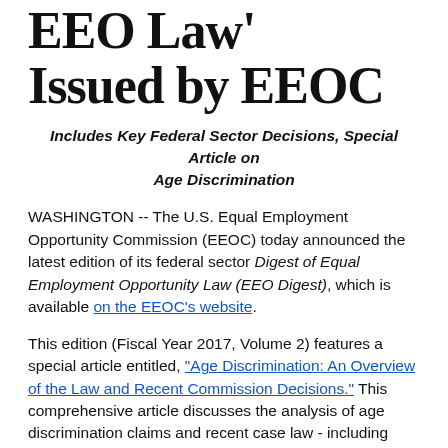EEO Law' Issued by EEOC
Includes Key Federal Sector Decisions, Special Article on Age Discrimination
WASHINGTON -- The U.S. Equal Employment Opportunity Commission (EEOC) today announced the latest edition of its federal sector Digest of Equal Employment Opportunity Law (EEO Digest), which is available on the EEOC's website.
This edition (Fiscal Year 2017, Volume 2) features a special article entitled, "Age Discrimination: An Overview of the Law and Recent Commission Decisions." This comprehensive article discusses the analysis of age discrimination claims and recent case law - including U.S.